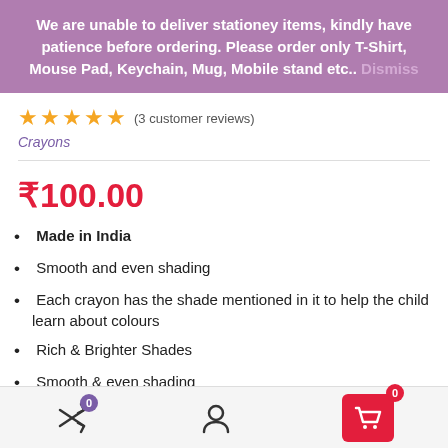We are unable to deliver stationey items, kindly have patience before ordering. Please order only T-Shirt, Mouse Pad, Keychain, Mug, Mobile stand etc.. Dismiss
★★★★★ (3 customer reviews)
Crayons
₹100.00
Made in India
Smooth and even shading
Each crayon has the shade mentioned in it to help the child learn about colours
Rich & Brighter Shades
Smooth & even shading
Meets international quality standards